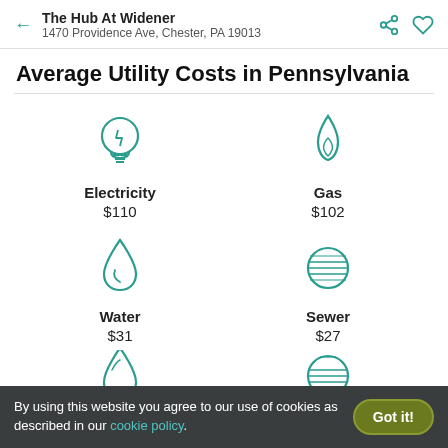The Hub At Widener
1470 Providence Ave, Chester, PA 19013
Average Utility Costs in Pennsylvania
[Figure (infographic): Four utility cost icons in a 2x2 grid: Electricity $110, Gas $102, Water $31, Sewer $27, with partial icons for two more utilities at the bottom]
By using this website you agree to our use of cookies as described in our cookie policy.